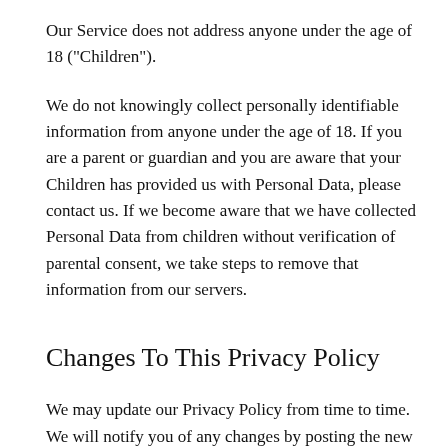Our Service does not address anyone under the age of 18 ("Children").
We do not knowingly collect personally identifiable information from anyone under the age of 18. If you are a parent or guardian and you are aware that your Children has provided us with Personal Data, please contact us. If we become aware that we have collected Personal Data from children without verification of parental consent, we take steps to remove that information from our servers.
Changes To This Privacy Policy
We may update our Privacy Policy from time to time. We will notify you of any changes by posting the new Privacy